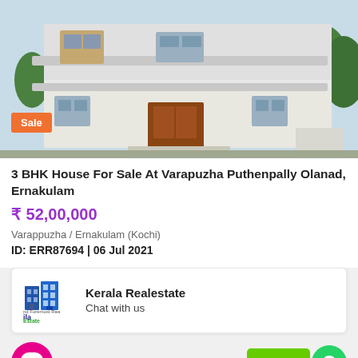[Figure (photo): Exterior photo of a 3 BHK house with white facade, balconies, and trees visible, with an orange 'Sale' badge overlay]
3 BHK House For Sale At Varapuzha Puthenpally Olanad, Ernakulam
₹ 52,00,000
Varappuzha / Ernakulam (Kochi)
ID: ERR87694 | 06 Jul 2021
[Figure (logo): Kerala Realestate logo with blue building icon and green 'Estate' text]
Kerala Realestate
Chat with us
[Figure (other): Pink chat bubble button with three dots and green WhatsApp button with 'View N' text]
GetButton